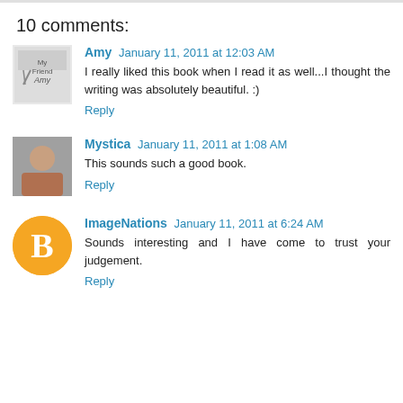10 comments:
Amy January 11, 2011 at 12:03 AM
I really liked this book when I read it as well...I thought the writing was absolutely beautiful. :)
Reply
Mystica January 11, 2011 at 1:08 AM
This sounds such a good book.
Reply
ImageNations January 11, 2011 at 6:24 AM
Sounds interesting and I have come to trust your judgement.
Reply